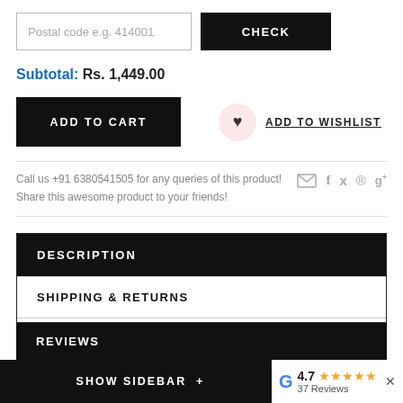Postal code e.g. 414001
CHECK
Subtotal: Rs. 1,449.00
ADD TO CART
ADD TO WISHLIST
Call us +91 6380541505 for any queries of this product! Share this awesome product to your friends!
DESCRIPTION
SHIPPING & RETURNS
SIZE CHART
REVIEWS
SHOW SIDEBAR +
4.7 ★★★★★ 37 Reviews